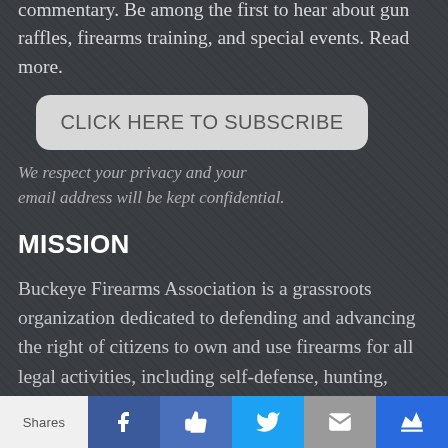commentary. Be among the first to hear about gun raffles, firearms training, and special events. Read more.
[Figure (other): CLICK HERE TO SUBSCRIBE button — large rounded rectangle button with light gray background]
We respect your privacy and your email address will be kept confidential.
MISSION
Buckeye Firearms Association is a grassroots organization dedicated to defending and advancing the right of citizens to own and use firearms for all legal activities, including self-defense, hunting, competition, and recreation.
Shares | Facebook | Like | Twitter | Email | Crown